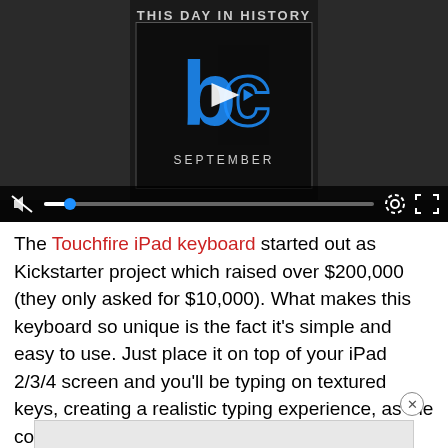[Figure (screenshot): Video player showing 'THIS DAY IN HISTORY' with a BC logo, play button, September label, two people faces on sides, video controls bar at bottom with mute icon, blue progress dot, settings gear icon, and fullscreen icon.]
The Touchfire iPad keyboard started out as Kickstarter project which raised over $200,000 (they only asked for $10,000). What makes this keyboard so unique is the fact it's simple and easy to use. Just place it on top of your iPad 2/3/4 screen and you'll be typing on textured keys, creating a realistic typing experience, as the cover magnets keep it right in place.
[Figure (other): Advertisement close button (x) and a light gray ad banner area]